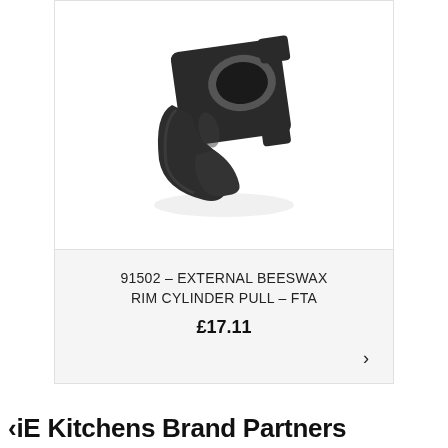[Figure (photo): Photo of a black metal external beeswax rim cylinder pull hardware piece on white background]
91502 - EXTERNAL BEESWAX RIM CYLINDER PULL - FTA
£17.11
‹iE Kitchens Brand Partners